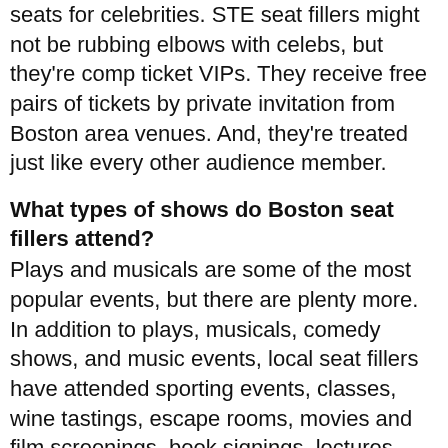seats for celebrities. STE seat fillers might not be rubbing elbows with celebs, but they're comp ticket VIPs. They receive free pairs of tickets by private invitation from Boston area venues. And, they're treated just like every other audience member.
What types of shows do Boston seat fillers attend?
Plays and musicals are some of the most popular events, but there are plenty more. In addition to plays, musicals, comedy shows, and music events, local seat fillers have attended sporting events, classes, wine tastings, escape rooms, movies and film screenings, book signings, lectures, and more.
How much do seat fillers in Boston pay for